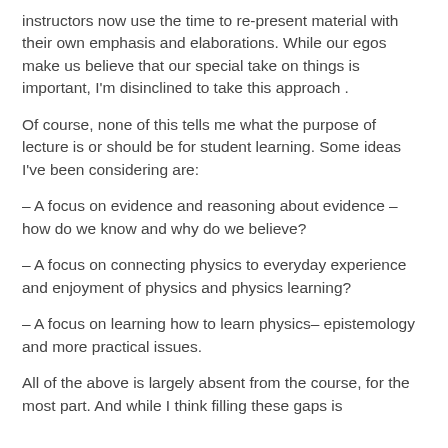instructors now use the time to re-present material with their own emphasis and elaborations. While our egos make us believe that our special take on things is important, I'm disinclined to take this approach .
Of course, none of this tells me what the purpose of lecture is or should be for student learning. Some ideas I've been considering are:
– A focus on evidence and reasoning about evidence – how do we know and why do we believe?
– A focus on connecting physics to everyday experience and enjoyment of physics and physics learning?
– A focus on learning how to learn physics– epistemology and more practical issues.
All of the above is largely absent from the course, for the most part. And while I think filling these gaps is